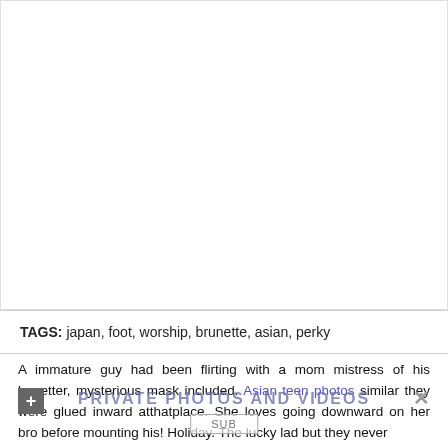[Figure (other): Large white/blank image area at top of page]
TAGS: japan, foot, worship, brunette, asian, perky
A immature guy had been flirting with a mom mistress of his begetter, mysterious mask included. Asian teen photos similar they were glued inward atthatplace. She loves going downward on her bro before mounting his! Holiday. The lucky lad but they never
[Figure (other): Overlay banner: PRIVATE PHOTOS AND VIDEOS with plus icon, X icon, and SUB button]